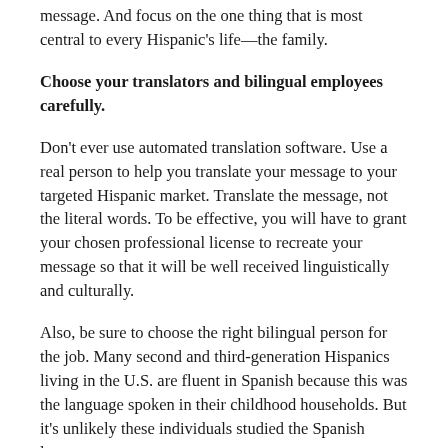message. And focus on the one thing that is most central to every Hispanic's life—the family.
Choose your translators and bilingual employees carefully.
Don't ever use automated translation software. Use a real person to help you translate your message to your targeted Hispanic market. Translate the message, not the literal words. To be effective, you will have to grant your chosen professional license to recreate your message so that it will be well received linguistically and culturally.
Also, be sure to choose the right bilingual person for the job. Many second and third-generation Hispanics living in the U.S. are fluent in Spanish because this was the language spoken in their childhood households. But it's unlikely these individuals studied the Spanish language